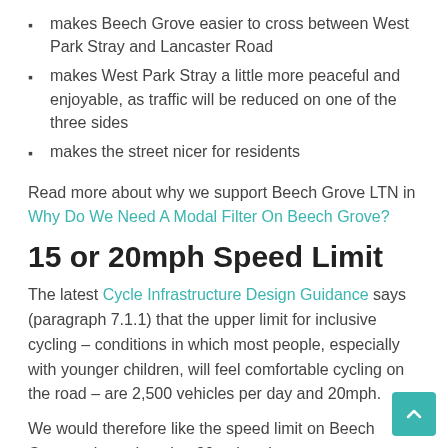makes Beech Grove easier to cross between West Park Stray and Lancaster Road
makes West Park Stray a little more peaceful and enjoyable, as traffic will be reduced on one of the three sides
makes the street nicer for residents
Read more about why we support Beech Grove LTN in Why Do We Need A Modal Filter On Beech Grove?
15 or 20mph Speed Limit
The latest Cycle Infrastructure Design Guidance says (paragraph 7.1.1) that the upper limit for inclusive cycling – conditions in which most people, especially with younger children, will feel comfortable cycling on the road – are 2,500 vehicles per day and 20mph.
We would therefore like the speed limit on Beech Grove to be reduced to 20mph or lower.